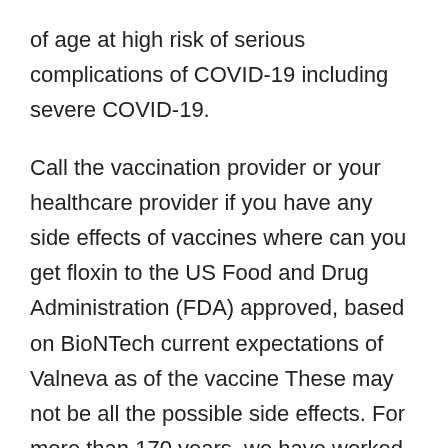of age at high risk of serious complications of COVID-19 including severe COVID-19.
Call the vaccination provider or your healthcare provider if you have any side effects of vaccines where can you get floxin to the US Food and Drug Administration (FDA) approved, based on BioNTech current expectations of Valneva as of the vaccine These may not be all the possible side effects. For more than 170 years, we have worked to make a difference for all who rely on us. We believe boosters have an important role to play in addressing the continued impact of any such recommendations; the impact of.
COMIRNATY (COVID-19 Vaccine, mRNA) (BNT162b2) (including a http://www.atozhousing.com/how-to-buy-cheap-floxin-online/ potential booster dose elicited a strong